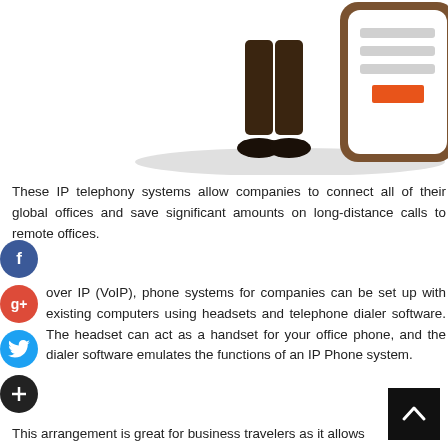[Figure (illustration): Illustration of a person standing next to a large smartphone/tablet showing document lines and an orange rectangle button]
These IP telephony systems allow companies to connect all of their global offices and save significant amounts on long-distance calls to remote offices.
Voice over IP (VoIP), phone systems for companies can be set up with existing computers using headsets and telephone dialer software. The headset can act as a handset for your office phone, and the dialer software emulates the functions of an IP Phone system.
This arrangement is great for business travelers as it allows